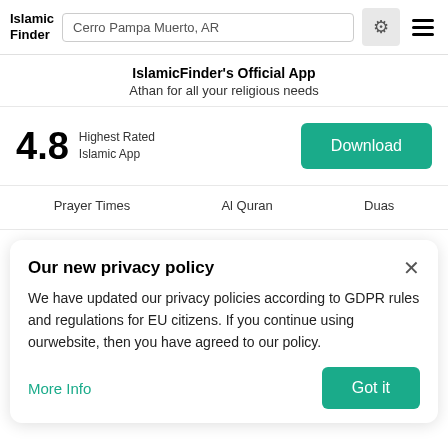Islamic Finder — Cerro Pampa Muerto, AR
IslamicFinder's Official App
Athan for all your religious needs
4.8 Highest Rated Islamic App
Download
Prayer Times   Al Quran   Duas
Our new privacy policy
We have updated our privacy policies according to GDPR rules and regulations for EU citizens. If you continue using ourwebsite, then you have agreed to our policy.
More Info
Got it